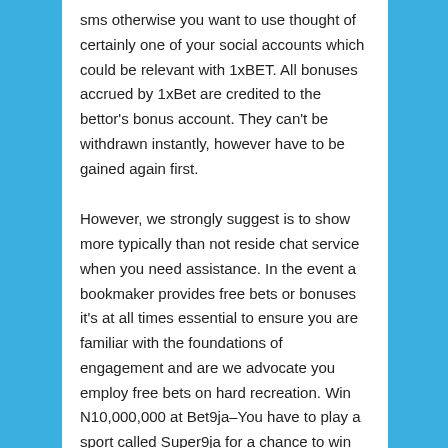sms otherwise you want to use thought of certainly one of your social accounts which could be relevant with 1xBET. All bonuses accrued by 1xBet are credited to the bettor's bonus account. They can't be withdrawn instantly, however have to be gained again first.
However, we strongly suggest is to show more typically than not reside chat service when you need assistance. In the event a bookmaker provides free bets or bonuses it's at all times essential to ensure you are familiar with the foundations of engagement and are we advocate you employ free bets on hard recreation. Win N10,000,000 at Bet9ja–You have to play a sport called Super9ja for a chance to win the life-changing N10,000,000 jackpot. Bet9ja also...